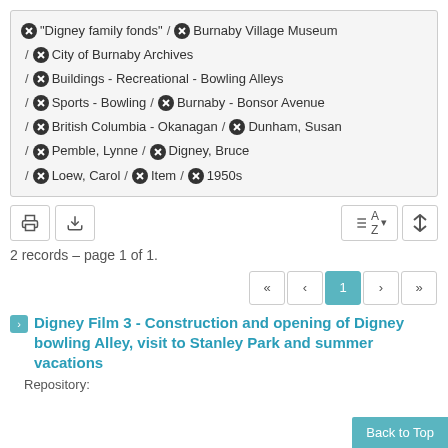"Digney family fonds" / Burnaby Village Museum / City of Burnaby Archives / Buildings - Recreational - Bowling Alleys / Sports - Bowling / Burnaby - Bonsor Avenue / British Columbia - Okanagan / Dunham, Susan / Pemble, Lynne / Digney, Bruce / Loew, Carol / Item / 1950s
2 records – page 1 of 1.
Digney Film 3 - Construction and opening of Digney bowling Alley, visit to Stanley Park and summer vacations
Repository: